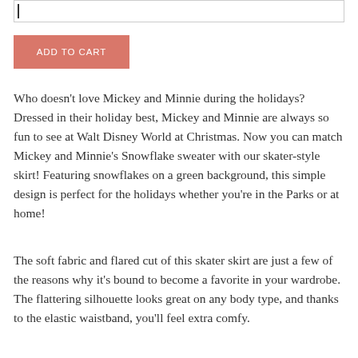[Figure (other): Input field with cursor at top of page]
ADD TO CART
Who doesn't love Mickey and Minnie during the holidays? Dressed in their holiday best, Mickey and Minnie are always so fun to see at Walt Disney World at Christmas. Now you can match Mickey and Minnie's Snowflake sweater with our skater-style skirt! Featuring snowflakes on a green background, this simple design is perfect for the holidays whether you're in the Parks or at home!
The soft fabric and flared cut of this skater skirt are just a few of the reasons why it's bound to become a favorite in your wardrobe. The flattering silhouette looks great on any body type, and thanks to the elastic waistband, you'll feel extra comfy.